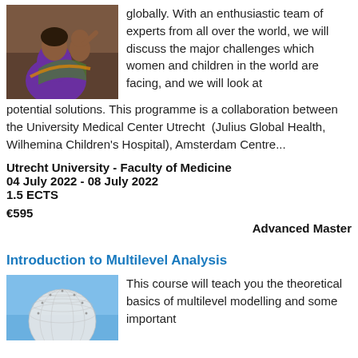[Figure (photo): Photo of a woman in purple clothing holding a baby]
globally. With an enthusiastic team of experts from all over the world, we will discuss the major challenges which women and children in the world are facing, and we will look at potential solutions. This programme is a collaboration between the University Medical Center Utrecht (Julius Global Health, Wilhemina Children's Hospital), Amsterdam Centre...
Utrecht University - Faculty of Medicine
04 July 2022 - 08 July 2022
1.5 ECTS
€595
Advanced Master
Introduction to Multilevel Analysis
[Figure (photo): Photo of a spherical geometric structure against a blue sky]
This course will teach you the theoretical basics of multilevel modelling and some important